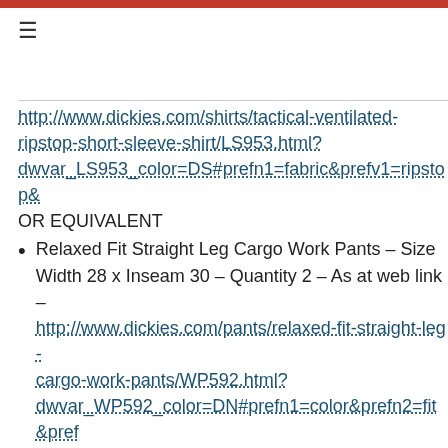http://www.dickies.com/shirts/tactical-ventilated-ripstop-short-sleeve-shirt/LS953.html?dwvar_LS953_color=DS#prefn1=fabric&prefv1=ripstop& OR EQUIVALENT
Relaxed Fit Straight Leg Cargo Work Pants – Size Width 28 x Inseam 30 – Quantity 2 – As at web link – http://www.dickies.com/pants/relaxed-fit-straight-leg-cargo-work-pants/WP592.html?dwvar_WP592_color=DN#prefn1=color&prefn2=fit&pref pocket&prefv1=Tan&prefv2=loose%7Crelaxed%7Cregula OR EQUIVALENT
Relaxed Fit Straight Leg Cargo Work Pants – Size Width 32 x Inseam 30 – Quantity 24 – As at web link – http://www.dickies.com/pants/relaxed-fit-straight-leg-cargo-work-pants/WP592.html? dwvar_WP592_color=DN#prefn1=color&prefn2=fit&pref